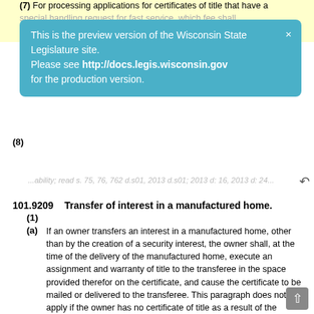(7) For processing applications for certificates of title that have a special handling request for fast service, which fee shall
This is the preview version of the Wisconsin State Legislature site. Please see http://docs.legis.wisconsin.gov for the production version.
(8) [partially obscured text]
101.9209    Transfer of interest in a manufactured home.
(1)
(a) If an owner transfers an interest in a manufactured home, other than by the creation of a security interest, the owner shall, at the time of the delivery of the manufactured home, execute an assignment and warranty of title to the transferee in the space provided therefor on the certificate, and cause the certificate to be mailed or delivered to the transferee. This paragraph does not apply if the owner has no certificate of title as a result of the exemption under s. 101.9203 (4).
(b) Any person who holds legal title of a manufactured home with one or more other persons may transfer ownership of the manufactured home under this subsection if legal title to the manufactured home is held in the names of such persons in the alternative, including a manufactured home held in form designating the holder by the words "(name of one person) or (name of other person)".